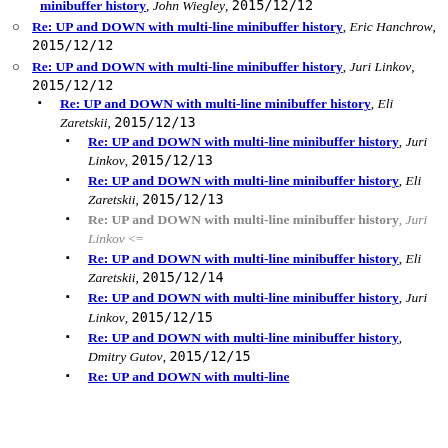minibuffer history, John Wiegley, 2015/12/12
Re: UP and DOWN with multi-line minibuffer history, Eric Hanchrow, 2015/12/12
Re: UP and DOWN with multi-line minibuffer history, Juri Linkov, 2015/12/12
Re: UP and DOWN with multi-line minibuffer history, Eli Zaretskii, 2015/12/13
Re: UP and DOWN with multi-line minibuffer history, Juri Linkov, 2015/12/13
Re: UP and DOWN with multi-line minibuffer history, Eli Zaretskii, 2015/12/13
Re: UP and DOWN with multi-line minibuffer history, Juri Linkov <=
Re: UP and DOWN with multi-line minibuffer history, Eli Zaretskii, 2015/12/14
Re: UP and DOWN with multi-line minibuffer history, Juri Linkov, 2015/12/15
Re: UP and DOWN with multi-line minibuffer history, Dmitry Gutov, 2015/12/15
Re: UP and DOWN with multi-line minibuffer history